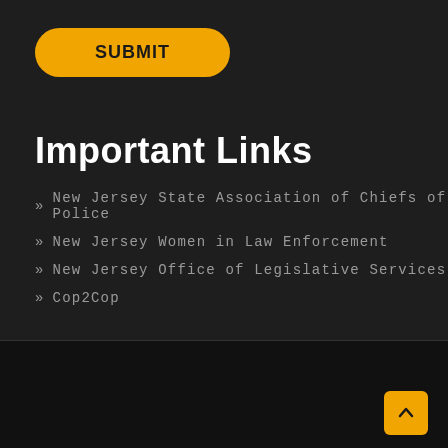[Figure (other): Orange rounded rectangle button with bold black text reading SUBMIT]
Important Links
» New Jersey State Association of Chiefs of Police
» New Jersey Women in Law Enforcement
» New Jersey Office of Legislative Services
» Cop2Cop
©2020 NOBLE New Jersey Chapter. All Rights Reserved. Website powered by: iD Intelligent Design